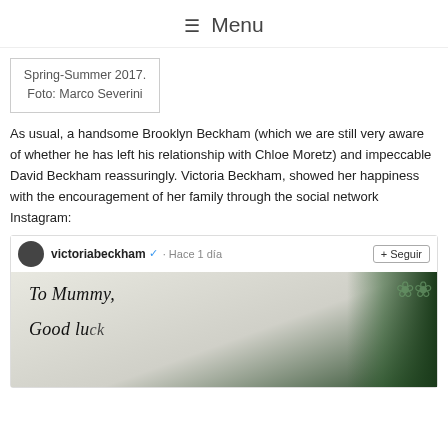☰ Menu
Spring-Summer 2017. Foto: Marco Severini
As usual, a handsome Brooklyn Beckham (which we are still very aware of whether he has left his relationship with Chloe Moretz) and impeccable David Beckham reassuringly. Victoria Beckham, showed her happiness with the encouragement of her family through the social network Instagram:
[Figure (screenshot): Instagram post by victoriabeckham showing a handwritten note that reads 'To Mummy,' and 'Good [luck/luck...]' with white flowers in the background. Header shows username victoriabeckham with verified badge, 'Hace 1 día', and a '+ Seguir' follow button.]